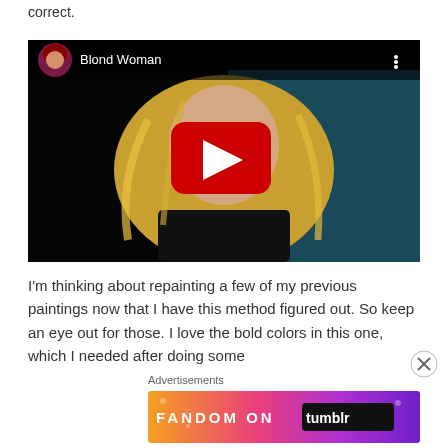correct.
[Figure (screenshot): YouTube-style embedded video thumbnail showing a blond woman digital painting with play button overlay. Header shows anime-style avatar and title 'Blond Woman'.]
I'm thinking about repainting a few of my previous paintings now that I have this method figured out.  So keep an eye out for those.  I love the bold colors in this one, which I needed after doing some
Advertisements
[Figure (screenshot): Fandom on Tumblr advertisement banner with colorful gradient background (orange, pink, purple) and white/black bold text reading 'FANDOM ON tumblr']